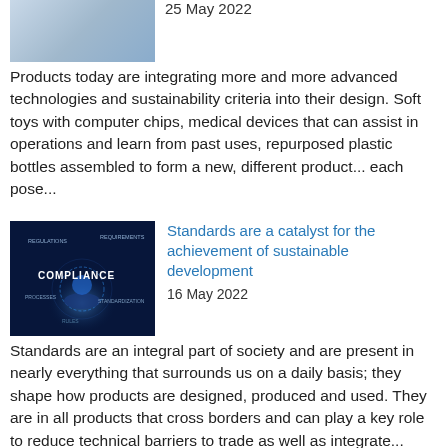[Figure (photo): Thumbnail image of a person working with a product/technology, partially visible at top of page]
25 May 2022
Products today are integrating more and more advanced technologies and sustainability criteria into their design. Soft toys with computer chips, medical devices that can assist in operations and learn from past uses, repurposed plastic bottles assembled to form a new, different product... each pose...
[Figure (photo): Blue digital compliance/standards themed image with hand holding glowing sphere and text overlays including COMPLIANCE, REGULATIONS, REQUIREMENTS, PROCESSES, STANDARDIZATION]
Standards are a catalyst for the achievement of sustainable development
16 May 2022
Standards are an integral part of society and are present in nearly everything that surrounds us on a daily basis; they shape how products are designed, produced and used. They are in all products that cross borders and can play a key role to reduce technical barriers to trade as well as integrate...
[Figure (photo): Partial thumbnail image visible at bottom of page]